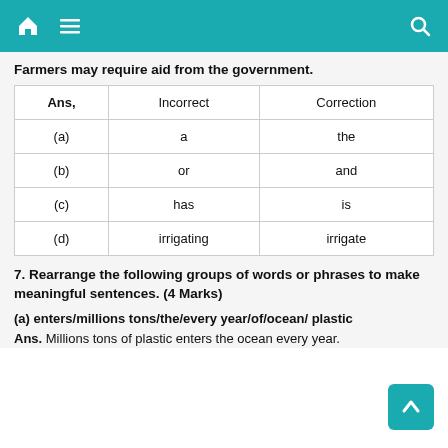[home icon] [menu icon] [search icon]
Farmers may require aid from the government.
| Ans, | Incorrect | Correction |
| --- | --- | --- |
| (a) | a | the |
| (b) | or | and |
| (c) | has | is |
| (d) | irrigating | irrigate |
7. Rearrange the following groups of words or phrases to make meaningful sentences. (4 Marks)
(a) enters/millions tons/the/every year/of/ocean/ plastic
Ans. Millions tons of plastic enters the ocean every year.